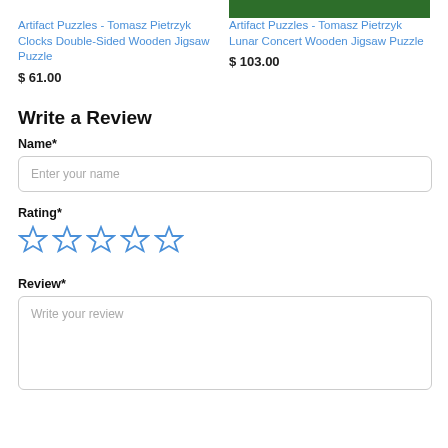[Figure (photo): Top portion of two product images, showing green background of puzzle artwork. Right image visible, left not visible at top.]
Artifact Puzzles - Tomasz Pietrzyk Clocks Double-Sided Wooden Jigsaw Puzzle
$ 61.00
Artifact Puzzles - Tomasz Pietrzyk Lunar Concert Wooden Jigsaw Puzzle
$ 103.00
Write a Review
Name*
Enter your name
Rating*
[Figure (other): Five empty star rating icons in blue outline style]
Review*
Write your review